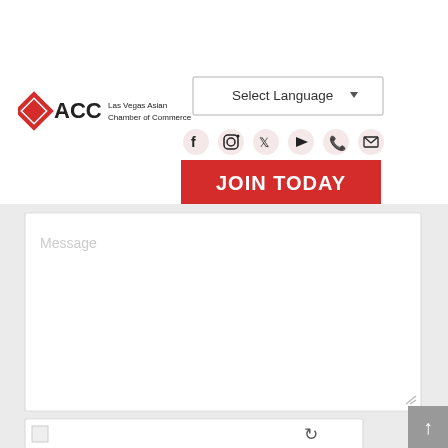[Figure (logo): ACC Las Vegas Asian Chamber of Commerce logo with red diamond ACC icon and text]
[Figure (screenshot): Select Language dropdown button]
[Figure (infographic): Social media icons: Facebook, Instagram, Twitter, YouTube, Phone, Email]
[Figure (screenshot): JOIN TODAY red button]
[Figure (screenshot): Message text area input field with placeholder text 'Message']
[Figure (screenshot): reCAPTCHA widget partial view at bottom]
[Figure (screenshot): Scroll to top arrow button at bottom right]